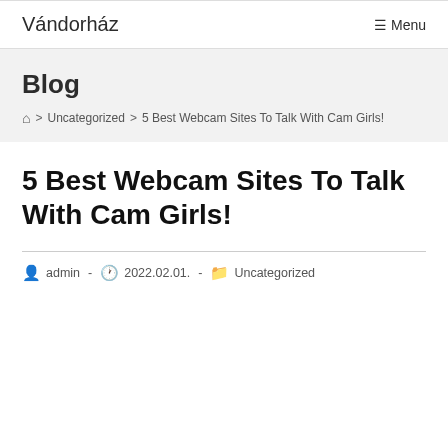Vándorház   ☰ Menu
Blog
🏠 > Uncategorized > 5 Best Webcam Sites To Talk With Cam Girls!
5 Best Webcam Sites To Talk With Cam Girls!
👤 admin  -  🕐 2022.02.01.  -  📁 Uncategorized